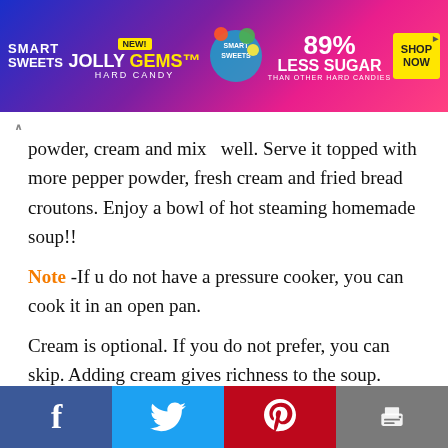[Figure (photo): Smart Sweets Jolly Gems Hard Candy advertisement banner - colorful candy on purple/pink background, 89% Less Sugar than other hard candies, Shop Now button]
powder, cream and mix  well. Serve it topped with more pepper powder, fresh cream and fried bread croutons. Enjoy a bowl of hot steaming homemade soup!!
Note -If u do not have a pressure cooker, you can cook it in an open pan.
Cream is optional. If you do not prefer, you can skip. Adding cream gives richness to the soup.
★★★★★ 5 from 2 votes
f   Twitter   Pinterest   Print